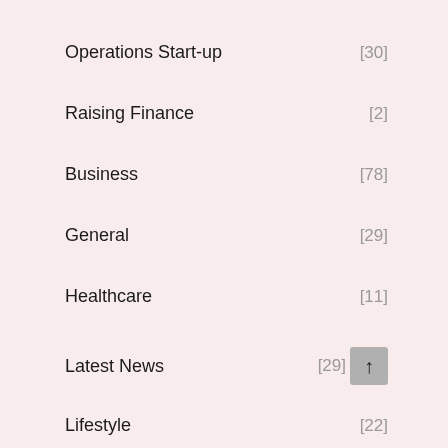Operations Start-up [30]
Raising Finance [2]
Business [78]
General [29]
Healthcare [11]
Latest News [29]
Lifestyle [22]
Tourism [14]